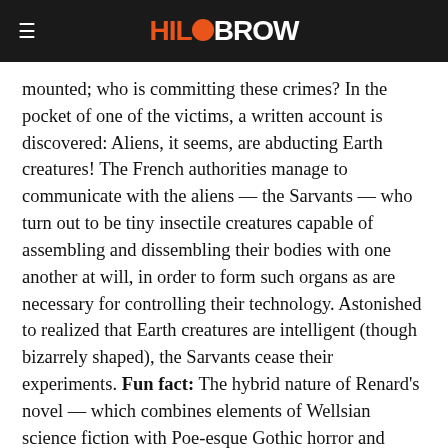HiloBrow
mounted; who is committing these crimes? In the pocket of one of the victims, a written account is discovered: Aliens, it seems, are abducting Earth creatures! The French authorities manage to communicate with the aliens — the Sarvants — who turn out to be tiny insectile creatures capable of assembling and dissembling their bodies with one another at will, in order to form such organs as are necessary for controlling their technology. Astonished to realized that Earth creatures are intelligent (though bizarrely shaped), the Sarvants cease their experiments. Fun fact: The hybrid nature of Renard's novel — which combines elements of Wellsian science fiction with Poe-esque Gothic horror and detective fiction — caused it to be overlooked, for many years, by sci-fi scholars.